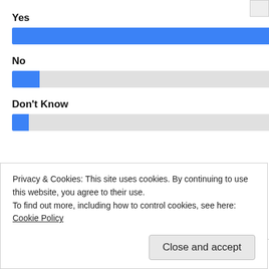[Figure (bar-chart): Poll Results]
Total Votes: 4,096
[Figure (screenshot): Facebook Like (0) and Share buttons, and Twitter Tweet button]
Privacy & Cookies: This site uses cookies. By continuing to use this website, you agree to their use. To find out more, including how to control cookies, see here: Cookie Policy
Close and accept
are still able to be productive and innovative,